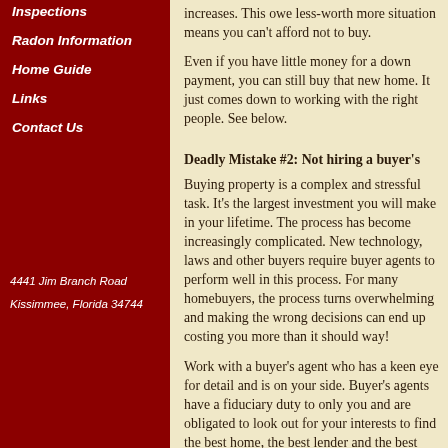Inspections
Radon Information
Home Guide
Links
Contact Us
4441 Jim Branch Road
Kissimmee, Florida 34744
increases.  This owe less-worth more situation means you can't afford not to buy.
Even if you have little money for a down payment, you can still buy that new home.  It just comes down to working with the right people.  See below.
Deadly Mistake #2:  Not hiring a buyer's
Buying property is a complex and stressful task. It's the largest investment you will make in your lifetime. The process has become increasingly complicated.  New technology, laws and other buyers require buyer agents to perform well in this process. For many homebuyers, the process turns overwhelming and making the wrong decisions can end up costing you more than it should way!
Work with a buyer's agent who has a keen eye for detail and is on your side.  Buyer's agents have a fiduciary duty to only you and are obligated to look out for your interests to find the best home, the best lender and the best terms. The buyer's agent is paid out of the seller's commission. Trying to buy a home without an agent a